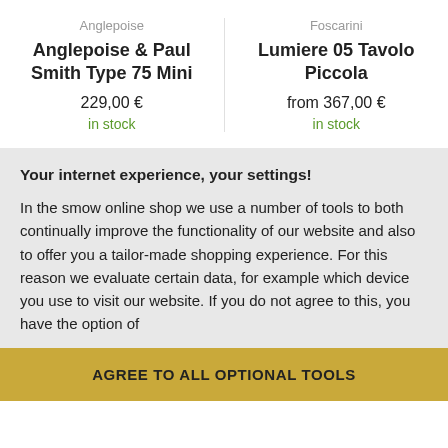Anglepoise
Anglepoise & Paul Smith Type 75 Mini
229,00 €
in stock
Foscarini
Lumiere 05 Tavolo Piccola
from 367,00 €
in stock
Your internet experience, your settings!
In the smow online shop we use a number of tools to both continually improve the functionality of our website and also to offer you a tailor-made shopping experience. For this reason we evaluate certain data, for example which device you use to visit our website. If you do not agree to this, you have the option of
CUSTOMISE
AGREE TO ALL OPTIONAL TOOLS